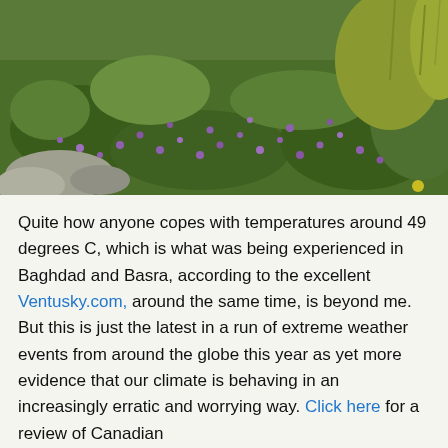[Figure (photo): Outdoor photo of a hillside meadow with green vegetation, grasses, and purple wildflowers scattered throughout. Rocky terrain visible at lower left.]
Quite how anyone copes with temperatures around 49 degrees C, which is what was being experienced in Baghdad and Basra, according to the excellent Ventusky.com, around the same time, is beyond me. But this is just the latest in a run of extreme weather events from around the globe this year as yet more evidence that our climate is behaving in an increasingly erratic and worrying way. Click here for a review of Canadian